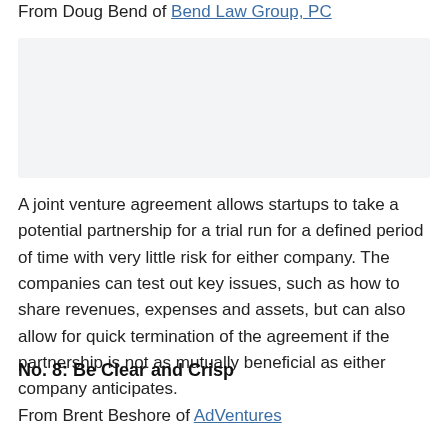From Doug Bend of Bend Law Group, PC
[Figure (photo): Light gray placeholder image box]
A joint venture agreement allows startups to take a potential partnership for a trial run for a defined period of time with very little risk for either company. The companies can test out key issues, such as how to share revenues, expenses and assets, but can also allow for quick termination of the agreement if the partnership is not as mutually beneficial as either company anticipates.
No. 8: Be Clear and Crisp
From Brent Beshore of AdVentures